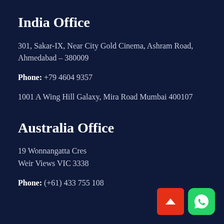India Office
301, Sakar-IX, Near City Gold Cinema, Ashram Road, Ahmedabad – 380009
Phone: +79 4604 9357
1001 A Wing Hill Galaxy, Mira Road Mumbai 400107
Australia Office
19 Wonnangatta Cres
Weir Views VIC 3338
Phone: (+61) 433 755 108